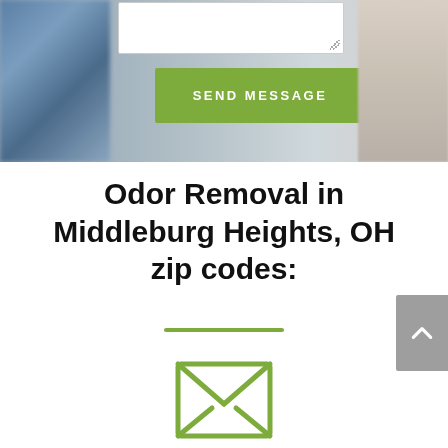[Figure (screenshot): Top section of a webpage showing a text area input and a green 'SEND MESSAGE' button overlaid on a blurred background image of a person sitting with a laptop.]
Odor Removal in Middleburg Heights, OH zip codes:
[Figure (illustration): Green outline envelope/email icon]